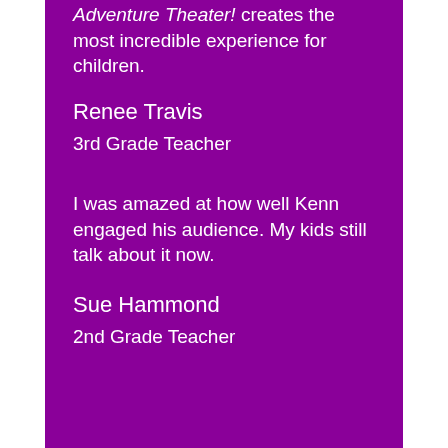Adventure Theater! creates the most incredible experience for children.
Renee Travis
3rd Grade Teacher
I was amazed at how well Kenn engaged his audience. My kids still talk about it now.
Sue Hammond
2nd Grade Teacher